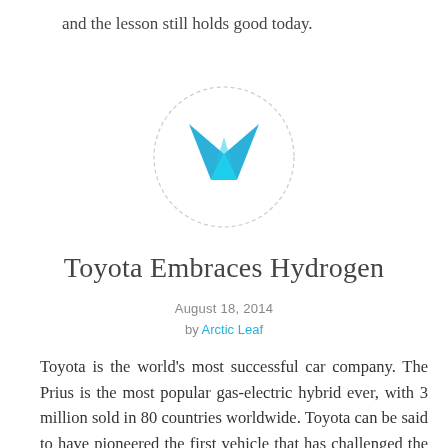and the lesson still holds good today.
[Figure (logo): Circular logo with a cyan/blue geometric W-shaped chevron icon inside a light gray dashed circle border]
Toyota Embraces Hydrogen
August 18, 2014
by Arctic Leaf
Toyota is the world's most successful car company. The Prius is the most popular gas-electric hybrid ever, with 3 million sold in 80 countries worldwide. Toyota can be said to have pioneered the first vehicle that has challenged the traditional internal combustion engine.